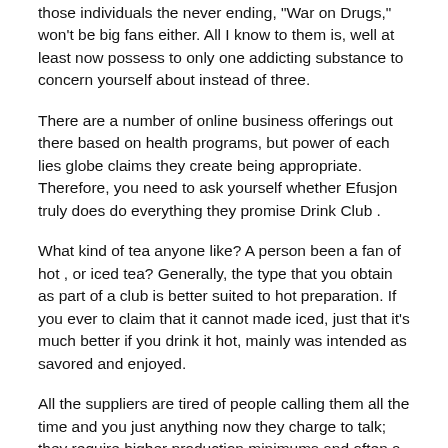those individuals the never ending, "War on Drugs," won't be big fans either. All I know to them is, well at least now possess to only one addicting substance to concern yourself about instead of three.
There are a number of online business offerings out there based on health programs, but power of each lies globe claims they create being appropriate. Therefore, you need to ask yourself whether Efusjon truly does do everything they promise Drink Club .
What kind of tea anyone like? A person been a fan of hot , or iced tea? Generally, the type that you obtain as part of a club is better suited to hot preparation. If you ever to claim that it cannot made iced, just that it's much better if you drink it hot, mainly was intended as savored and enjoyed.
All the suppliers are tired of people calling them all the time and you just anything now they charge to talk; they require higher production minimums and often a retainer to start.